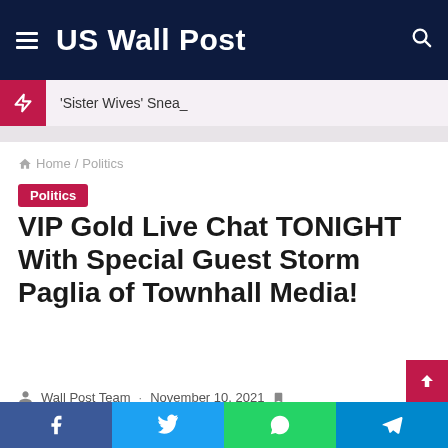US Wall Post
'Sister Wives' Snea_
Home / Politics
Politics
VIP Gold Live Chat TONIGHT With Special Guest Storm Paglia of Townhall Media!
Wall Post Team · November 10, 2021 · 2 minutes read